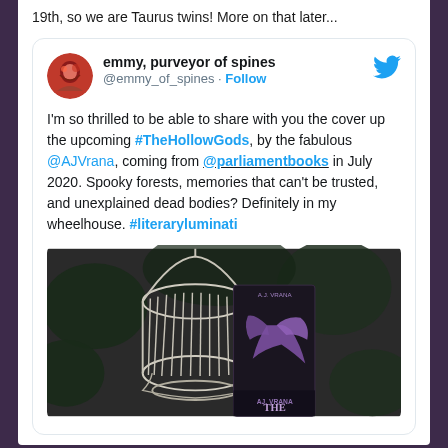19th, so we are Taurus twins! More on that later...
[Figure (screenshot): Embedded tweet from @emmy_of_spines (emmy, purveyor of spines) with text about #TheHollowGods book cover reveal, mentioning @AJVrana and @parliamentbooks, with a photo of the book next to a birdcage.]